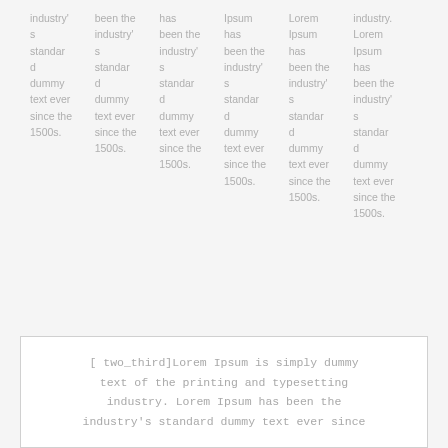industry's standard dummy text ever since the 1500s.
been the industry's standard dummy text ever since the 1500s.
has been the industry's standard dummy text ever since the 1500s.
Lorem Ipsum has been the industry's standard dummy text ever since the 1500s.
Lorem Ipsum has been the industry's standard dummy text ever since the 1500s.
industry. Lorem Ipsum has been the industry's standard dummy text ever since the 1500s.
[ two_third]Lorem Ipsum is simply dummy text of the printing and typesetting industry. Lorem Ipsum has been the industry's standard dummy text ever since